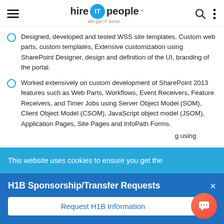hire IT people — We get IT done!
Designed, developed and tested WSS site templates, Custom web parts, custom templates, Extensive customization using SharePoint Designer, design and definition of the UI, branding of the portal.
Worked extensively on custom development of SharePoint 2013 features such as Web Parts, Workflows, Event Receivers, Feature Receivers, and Timer Jobs using Server Object Model (SOM), Client Object Model (CSOM), JavaScript object model (JSOM), Application Pages, Site Pages and InfoPath Forms.
g using
This website uses cookies to ensure you get the
H1B Sponsorship/Transfer Requests
Request H1B Information